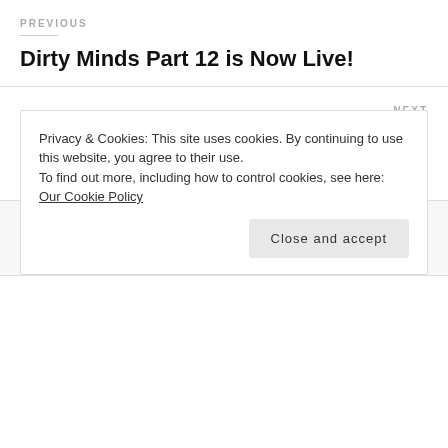PREVIOUS
Dirty Minds Part 12 is Now Live!
NEXT
Duck Duck Ghost Audiobook is Now Live!
16 thoughts on “Dirty
Privacy & Cookies: This site uses cookies. By continuing to use this website, you agree to their use.
To find out more, including how to control cookies, see here: Our Cookie Policy
Close and accept